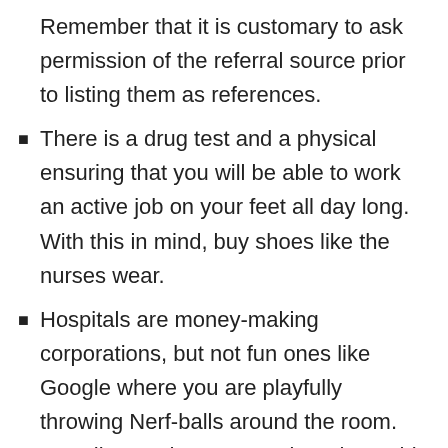Remember that it is customary to ask permission of the referral source prior to listing them as references.
There is a drug test and a physical ensuring that you will be able to work an active job on your feet all day long. With this in mind, buy shoes like the nurses wear.
Hospitals are money-making corporations, but not fun ones like Google where you are playfully throwing Nerf-balls around the room. Most licensed acupuncturists chose this profession for altruistic reasons but never anticipated the possibility of a tension-filled work atmosphere with unfulfilled co-workers